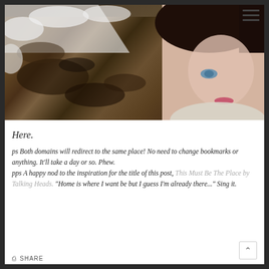[Figure (photo): Woman with dark hair and blue eyes looking at camera, background of snow-dusted dark soil/earth, selfie-style photo]
Here.
ps Both domains will redirect to the same place! No need to change bookmarks or anything. It'll take a day or so. Phew.
pps A happy nod to the inspiration for the title of this post, This Must Be The Place by Talking Heads. "Home is where I want be but I guess I'm already there..." Sing it.